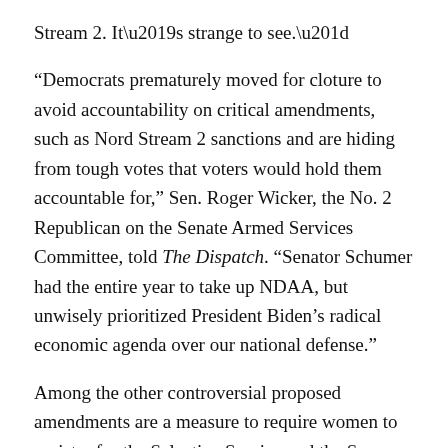Stream 2. It’s strange to see.”
“Democrats prematurely moved for cloture to avoid accountability on critical amendments, such as Nord Stream 2 sanctions and are hiding from tough votes that voters would hold them accountable for,” Sen. Roger Wicker, the No. 2 Republican on the Senate Armed Services Committee, told The Dispatch. “Senator Schumer had the entire year to take up NDAA, but unwisely prioritized President Biden’s radical economic agenda over our national defense.”
Among the other controversial proposed amendments are a measure to require women to register for the Selective Service and the Secure and Fair Enforcement (SAFE) Banking Act, which would allow financial institutions to offer services to state-licensed marijuana